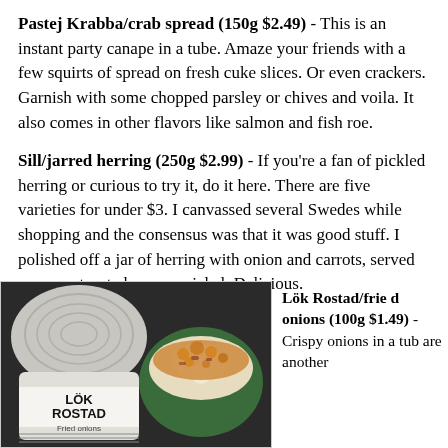Pastej Krabba/crab spread (150g $2.49) - This is an instant party canape in a tube. Amaze your friends with a few squirts of spread on fresh cuke slices. Or even crackers. Garnish with some chopped parsley or chives and voila. It also comes in other flavors like salmon and fish roe.
Sill/jarred herring (250g $2.99) - If you're a fan of pickled herring or curious to try it, do it here. There are five varieties for under $3. I canvassed several Swedes while shopping and the consensus was that it was good stuff. I polished off a jar of herring with onion and carrots, served on some toasted pumpernickel. Delicious.
[Figure (photo): Photo of a plastic tub labeled 'LÖK ROSTAD Fried onions' alongside a bowl filled with a cheesy casserole topped with crispy fried onions]
Lök Rostad/fried onions (100g $1.49) - Crispy onions in a tub are another